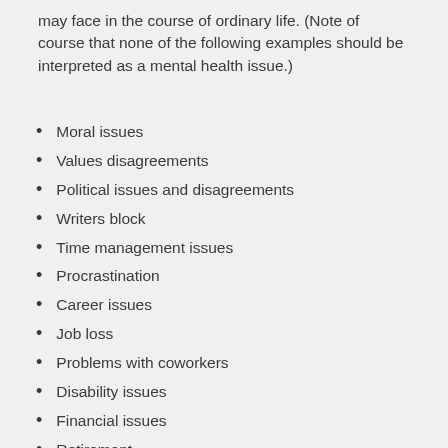may face in the course of ordinary life. (Note of course that none of the following examples should be interpreted as a mental health issue.)
Moral issues
Values disagreements
Political issues and disagreements
Writers block
Time management issues
Procrastination
Career issues
Job loss
Problems with coworkers
Disability issues
Financial issues
Retirement
Aging
End of life issues
Midlife issues